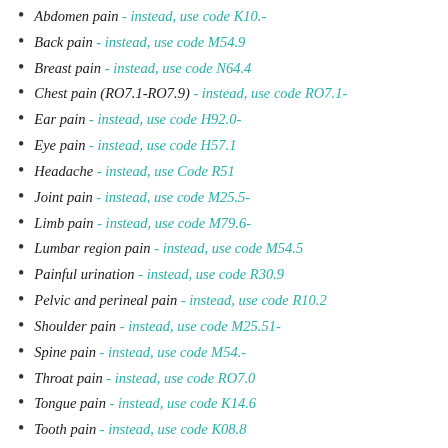Abdomen pain - instead, use code K10.-
Back pain - instead, use code M54.9
Breast pain - instead, use code N64.4
Chest pain (RO7.1-RO7.9) - instead, use code RO7.1-
Ear pain - instead, use code H92.0-
Eye pain - instead, use code H57.1
Headache - instead, use Code R51
Joint pain - instead, use code M25.5-
Limb pain - instead, use code M79.6-
Lumbar region pain - instead, use code M54.5
Painful urination - instead, use code R30.9
Pelvic and perineal pain - instead, use code R10.2
Shoulder pain - instead, use code M25.51-
Spine pain - instead, use code M54.-
Throat pain - instead, use code RO7.0
Tongue pain - instead, use code K14.6
Tooth pain - instead, use code K08.8
Renal colic - instead, use Code N23
Migraines - instead, use code G43.-
Myalgia - instead, use code M79.1